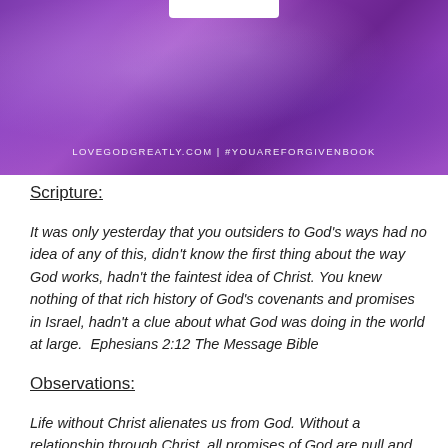[Figure (illustration): Purple marbled background banner with white rectangular element at top center and text 'LOVEGODGREATLY.COM | #YOUAREFORGIVENBOOK' at the bottom]
Scripture:
It was only yesterday that you outsiders to God's ways had no idea of any of this, didn't know the first thing about the way God works, hadn't the faintest idea of Christ. You knew nothing of that rich history of God's covenants and promises in Israel, hadn't a clue about what God was doing in the world at large.  Ephesians 2:12 The Message Bible
Observations:
Life without Christ alienates us from God. Without a relationship through Christ, all promises of God are null and